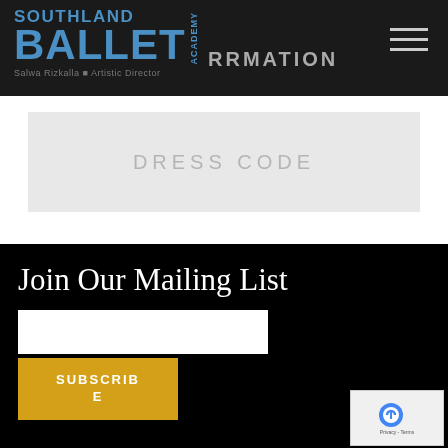[Figure (logo): Southland Ballet Academy logo with blue text and subtitle 'Salwa Rizkalla - Artistic Director' on dark background]
DRESS CODE
Join Our Mailing List
[Figure (screenshot): Email input field (white rectangle) for mailing list subscription]
SUBSCRIBE
[Figure (other): reCAPTCHA widget with Privacy - Terms text]